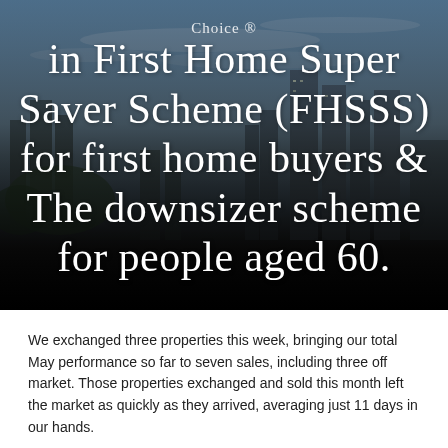[Figure (photo): Urban skyline photograph with blue sky and clouds in upper portion, fading to dark/black at bottom. White serif text overlay reads: 'in First Home Super Saver Scheme (FHSSS) for first home buyers & The downsizer scheme for people aged 60.' There is also a small 'Choice' logo/watermark visible.]
We exchanged three properties this week, bringing our total May performance so far to seven sales, including three off market. Those properties exchanged and sold this month left the market as quickly as they arrived, averaging just 11 days in our hands.